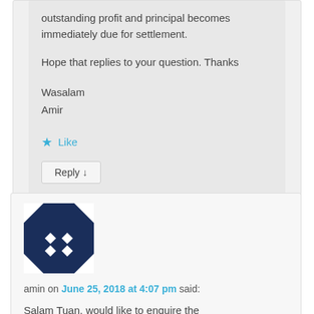outstanding profit and principal becomes immediately due for settlement.
Hope that replies to your question. Thanks
Wasalam
Amir
★ Like
Reply ↓
amin on June 25, 2018 at 4:07 pm said:
Salam Tuan, would like to enquire the impact/legality of the disbursement of the